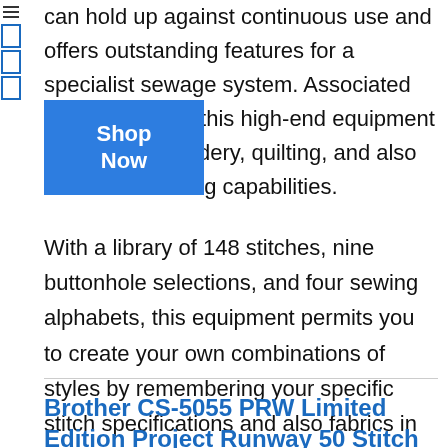can hold up against continuous use and offers outstanding features for a specialist sewage system. Associated with top quality, this high-end equipment supplies embroidery, quilting, and also standard stitching capabilities.
With a library of 148 stitches, nine buttonhole selections, and four sewing alphabets, this equipment permits you to create your own combinations of styles by remembering your specific stitch specifications and also fabrics in the onboard memory.
Brother CS-5055 PRW Limited Edition Project Runway 50 Stitch